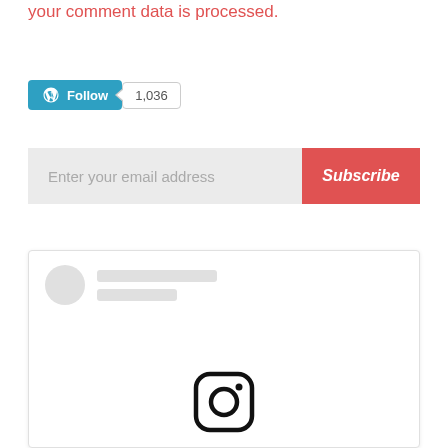your comment data is processed.
[Figure (other): WordPress Follow button with count badge showing 1,036 followers]
[Figure (other): Email subscription form with 'Enter your email address' input field and red 'Subscribe' button]
[Figure (other): Instagram embed placeholder card with grey avatar and placeholder lines, Instagram logo icon at bottom]